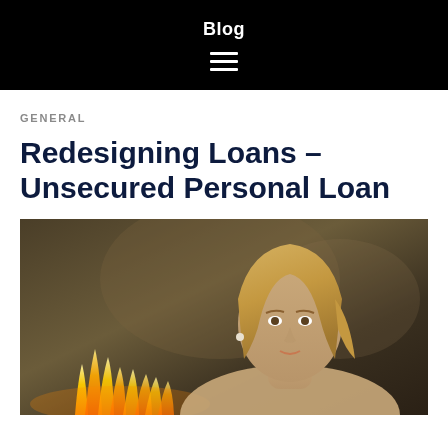Blog
GENERAL
Redesigning Loans – Unsecured Personal Loan
[Figure (photo): Woman with blonde hair in front of blurred background with candles/flames in the foreground]